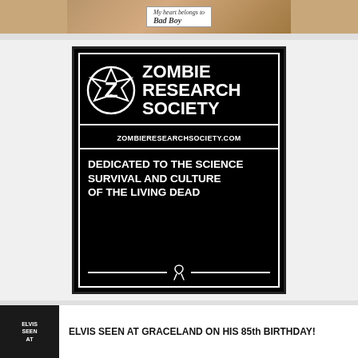[Figure (photo): Top photo of person holding a sign that reads 'My heart belongs to Bad Boy']
[Figure (logo): Zombie Research Society logo and advertisement. Black background with white text and logo. Shows 'ZOMBIE RESEARCH SOCIETY', 'ZOMBIERESEARCHSOCIETY.COM', 'DEDICATED TO THE SCIENCE SURVIVAL AND CULTURE OF THE LIVING DEAD' with ribbon symbol.]
[Figure (photo): Small black and white thumbnail photo for Elvis article]
ELVIS SEEN AT GRACELAND ON HIS 85th BIRTHDAY!